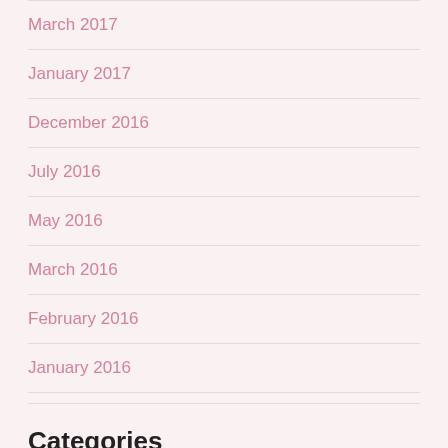March 2017
January 2017
December 2016
July 2016
May 2016
March 2016
February 2016
January 2016
Categories